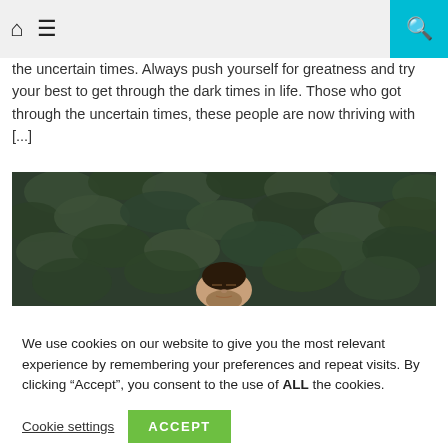[Navigation bar with home icon, menu icon, and search icon]
the uncertain times. Always push yourself for greatness and try your best to get through the dark times in life. Those who got through the uncertain times, these people are now thriving with [...]
[Figure (photo): A person lying on their back with eyes closed, surrounded by dark green ivy or leafy ground cover. Only their face is visible among the dense foliage.]
We use cookies on our website to give you the most relevant experience by remembering your preferences and repeat visits. By clicking “Accept”, you consent to the use of ALL the cookies.
Cookie settings  ACCEPT